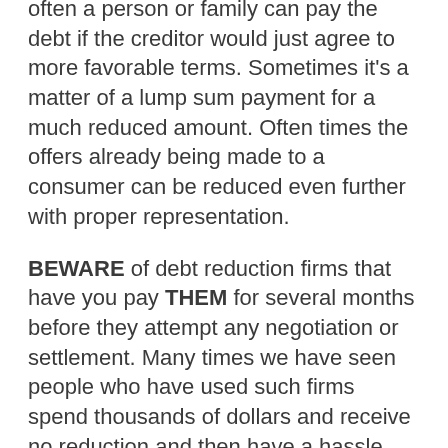often a person or family can pay the debt if the creditor would just agree to more favorable terms. Sometimes it's a matter of a lump sum payment for a much reduced amount. Often times the offers already being made to a consumer can be reduced even further with proper representation.
BEWARE of debt reduction firms that have you pay THEM for several months before they attempt any negotiation or settlement. Many times we have seen people who have used such firms spend thousands of dollars and receive no reduction and then have a hassle trying to have the firm return the monies paid.
Often times we can negotiate a debt to 50% or less, but this varies on a case by case basis. You also must be aware that a creditor has the right to file a 1099 and the amount of debt forgiven can be considered